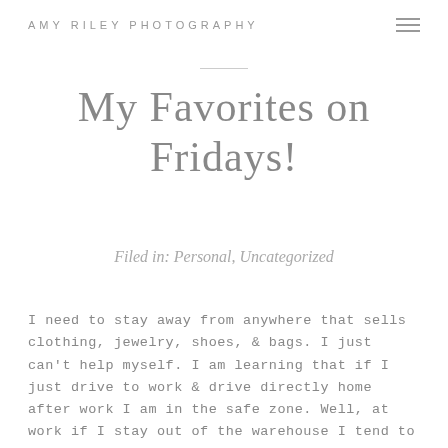AMY RILEY PHOTOGRAPHY
My Favorites on Fridays!
Filed in: Personal, Uncategorized
I need to stay away from anywhere that sells clothing, jewelry, shoes, & bags. I just can't help myself. I am learning that if I just drive to work & drive directly home after work I am in the safe zone. Well, at work if I stay out of the warehouse I tend to not spend money on DeJaVu or Judith March clothing too.